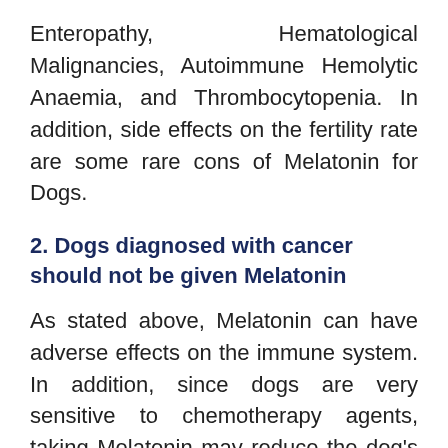Enteropathy, Hematological Malignancies, Autoimmune Hemolytic Anaemia, and Thrombocytopenia. In addition, side effects on the fertility rate are some rare cons of Melatonin for Dogs.
2. Dogs diagnosed with cancer should not be given Melatonin
As stated above, Melatonin can have adverse effects on the immune system. In addition, since dogs are very sensitive to chemotherapy agents, taking Melatonin may reduce the dog's ability to fight off